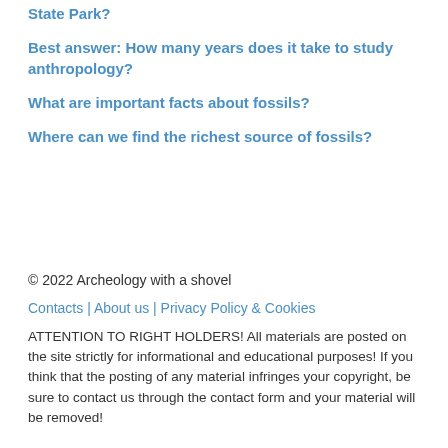State Park?
Best answer: How many years does it take to study anthropology?
What are important facts about fossils?
Where can we find the richest source of fossils?
© 2022 Archeology with a shovel
Contacts | About us | Privacy Policy & Cookies
ATTENTION TO RIGHT HOLDERS! All materials are posted on the site strictly for informational and educational purposes! If you think that the posting of any material infringes your copyright, be sure to contact us through the contact form and your material will be removed!